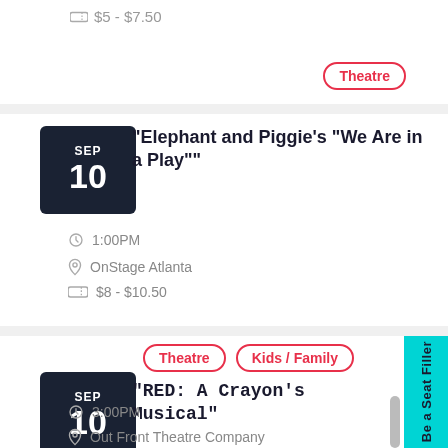$5 - $7.50
Theatre
"Elephant and Piggie's "We Are in a Play""
1:00PM
OnStage Atlanta
$8 - $10.50
Theatre
Kids / Family
"RED: A Crayon's Musical"
3:00PM
Out Front Theatre Company
Be a Seat Filler